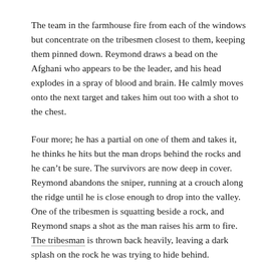The team in the farmhouse fire from each of the windows but concentrate on the tribesmen closest to them, keeping them pinned down. Reymond draws a bead on the Afghani who appears to be the leader, and his head explodes in a spray of blood and brain. He calmly moves onto the next target and takes him out too with a shot to the chest.
Four more; he has a partial on one of them and takes it, he thinks he hits but the man drops behind the rocks and he can’t be sure. The survivors are now deep in cover. Reymond abandons the sniper, running at a crouch along the ridge until he is close enough to drop into the valley. One of the tribesmen is squatting beside a rock, and Reymond snaps a shot as the man raises his arm to fire. The tribesman is thrown back heavily, leaving a dark splash on the rock he was trying to hide behind.